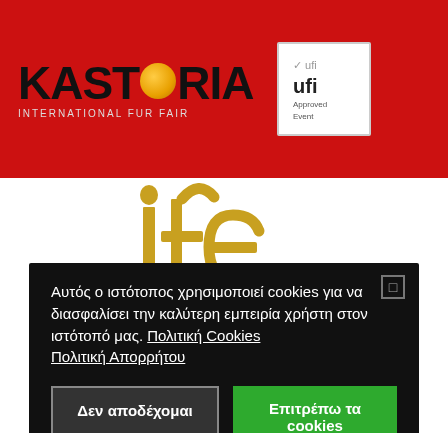[Figure (logo): Kastoria International Fur Fair logo with orange ball in place of letter O, and UFI Approved Event badge on red background]
[Figure (logo): Large golden/yellow IFC stylized typographic logo on white background]
Αυτός ο ιστότοπος χρησιμοποιεί cookies για να διασφαλίσει την καλύτερη εμπειρία χρήστη στον ιστότοπό μας. Πολιτική Cookies Πολιτική Απορρήτου
Δεν αποδέχομαι
Επιτρέπω τα cookies